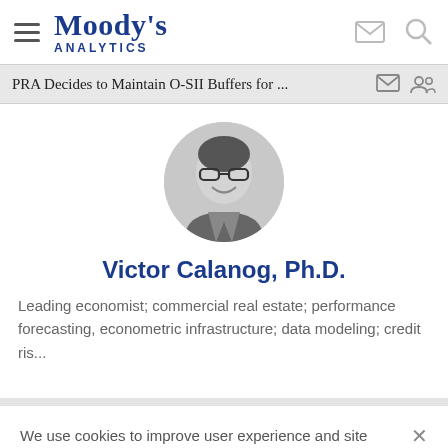Moody's Analytics
PRA Decides to Maintain O-SII Buffers for ...
[Figure (photo): Black and white circular profile photo of Victor Calanog, Ph.D., a smiling man wearing glasses and a suit jacket]
Victor Calanog, Ph.D.
Leading economist; commercial real estate; performance forecasting, econometric infrastructure; data modeling; credit ris...
We use cookies to improve user experience and site performance, offer advertising tailored to your interests and enable social media sharing. Learn more